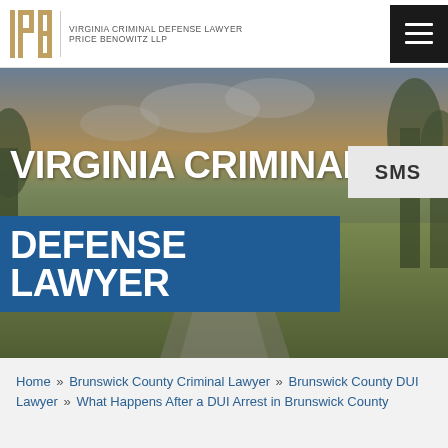VIRGINIA CRIMINAL DEFENSE LAWYER | PRICE BENOWITZ LLP
[Figure (screenshot): Law firm website screenshot showing header with PB logo and hamburger menu icon]
VIRGINIA CRIMINAL DEFENSE LAWYER
SMS
Home » Brunswick County Criminal Lawyer » Brunswick County DUI Lawyer » What Happens After a DUI Arrest in Brunswick County